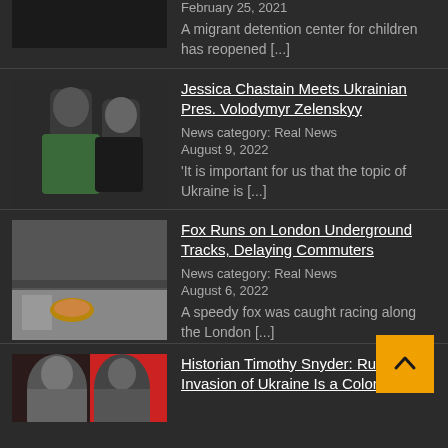February 25, 2021
A migrant detention center for children has reopened [...]
Jessica Chastain Meets Ukrainian Pres. Volodymyr Zelenskyy
News category: Real News
August 9, 2022
'It is important for us that the topic of Ukraine is [...]
Fox Runs on London Underground Tracks, Delaying Commuters
News category: Real News
August 6, 2022
A speedy fox was caught racing along the London [...]
Historian Timothy Snyder: Russia's Invasion of Ukraine Is a Colonial War